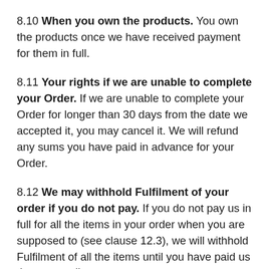8.10 When you own the products. You own the products once we have received payment for them in full.
8.11 Your rights if we are unable to complete your Order. If we are unable to complete your Order for longer than 30 days from the date we accepted it, you may cancel it. We will refund any sums you have paid in advance for your Order.
8.12 We may withhold Fulfilment of your order if you do not pay. If you do not pay us in full for all the items in your order when you are supposed to (see clause 12.3), we will withhold Fulfilment of all the items until you have paid us the outstanding a... The Fulfilment of the items will only take place wi...